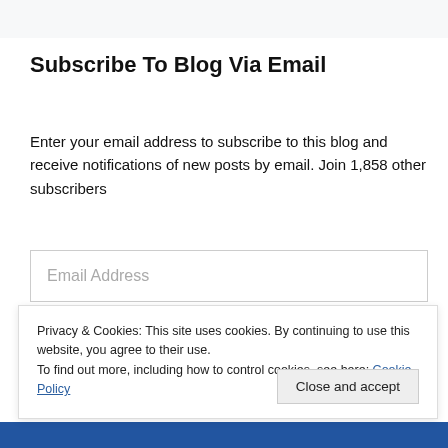Subscribe To Blog Via Email
Enter your email address to subscribe to this blog and receive notifications of new posts by email. Join 1,858 other subscribers
[Figure (screenshot): Email address input field with placeholder text 'Email Address']
[Figure (screenshot): Blue subscribe button (partially visible)]
Privacy & Cookies: This site uses cookies. By continuing to use this website, you agree to their use.
To find out more, including how to control cookies, see here: Cookie Policy
Close and accept